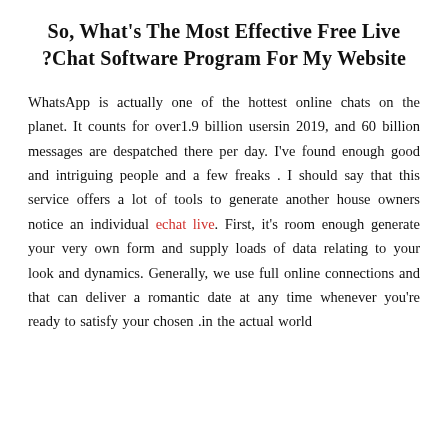So, What's The Most Effective Free Live Chat Software Program For My Website?
WhatsApp is actually one of the hottest online chats on the planet. It counts for over1.9 billion usersin 2019, and 60 billion messages are despatched there per day. I've found enough good and intriguing people and a few freaks . I should say that this service offers a lot of tools to generate another house owners notice an individual echat live. First, it's room enough generate your very own form and supply loads of data relating to your look and dynamics. Generally, we use full online connections and that can deliver a romantic date at any time whenever you're ready to satisfy your chosen in the actual world.